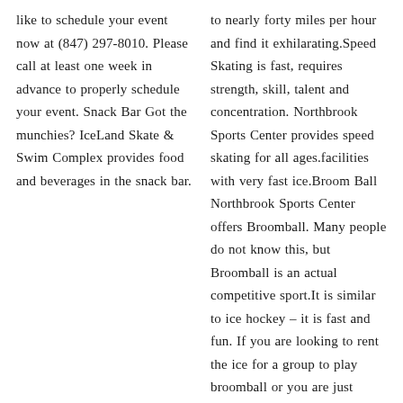like to schedule your event now at (847) 297-8010. Please call at least one week in advance to properly schedule your event. Snack Bar Got the munchies? IceLand Skate & Swim Complex provides food and beverages in the snack bar.
to nearly forty miles per hour and find it exhilarating.Speed Skating is fast, requires strength, skill, talent and concentration. Northbrook Sports Center provides speed skating for all ages.facilities with very fast ice.Broom Ball Northbrook Sports Center offers Broomball. Many people do not know this, but Broomball is an actual competitive sport.It is similar to ice hockey – it is fast and fun. If you are looking to rent the ice for a group to play broomball or you are just interested in giving it a try, give them a call now at +1-847-291-2993. Birthday Party or Event Planning? Why not have your party or event at Northbrook Sports Center? They can make their rink and other